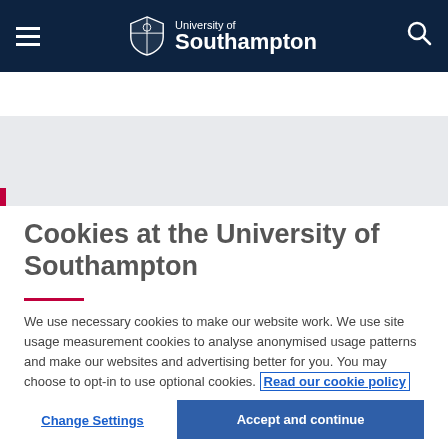University of Southampton — navigation header
Courses / Undergraduate / Midwifery (BSc)
Cookies at the University of Southampton
We use necessary cookies to make our website work. We use site usage measurement cookies to analyse anonymised usage patterns and make our websites and advertising better for you. You may choose to opt-in to use optional cookies. Read our cookie policy
Change Settings
Accept and continue